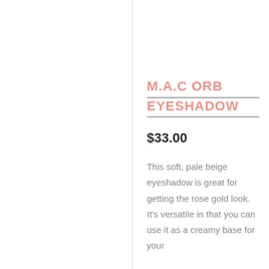M.A.C ORB EYESHADOW
$33.00
This soft, pale beige eyeshadow is great for getting the rose gold look. It's versatile in that you can use it as a creamy base for your